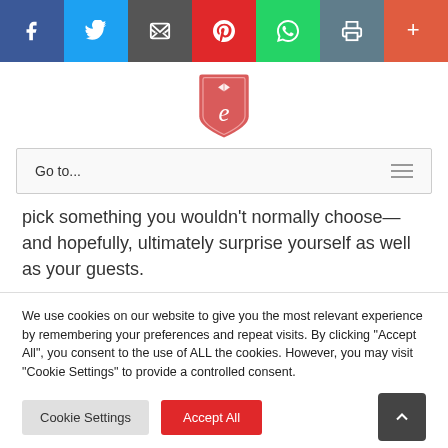[Figure (other): Social share bar with icons for Facebook, Twitter, Email, Pinterest, WhatsApp, Print, and More]
[Figure (logo): Website logo: red shield shape with diamond and letter 'e' in white]
Go to...
pick something you wouldn't normally choose—and hopefully, ultimately surprise yourself as well as your guests.
We use cookies on our website to give you the most relevant experience by remembering your preferences and repeat visits. By clicking "Accept All", you consent to the use of ALL the cookies. However, you may visit "Cookie Settings" to provide a controlled consent.